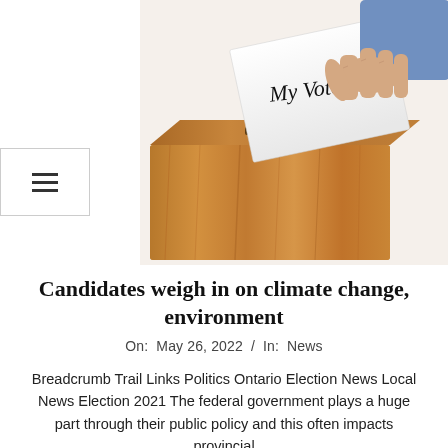[Figure (photo): A hand inserting a white card labeled 'My Vote' into a wooden ballot box slot, on a white background.]
Candidates weigh in on climate change, environment
On:  May 26, 2022  /  In:  News
Breadcrumb Trail Links Politics Ontario Election News Local News Election 2021 The federal government plays a huge part through their public policy and this often impacts provincial